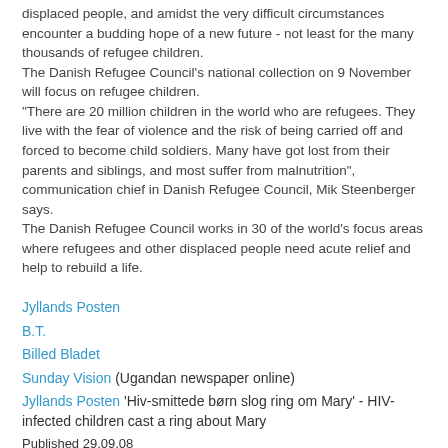displaced people, and amidst the very difficult circumstances encounter a budding hope of a new future - not least for the many thousands of refugee children.
The Danish Refugee Council's national collection on 9 November will focus on refugee children.
"There are 20 million children in the world who are refugees. They live with the fear of violence and the risk of being carried off and forced to become child soldiers. Many have got lost from their parents and siblings, and most suffer from malnutrition", communication chief in Danish Refugee Council, Mik Steenberger says.
The Danish Refugee Council works in 30 of the world's focus areas where refugees and other displaced people need acute relief and help to rebuild a life.
Jyllands Posten
B.T.
Billed Bladet
Sunday Vision (Ugandan newspaper online)
Jyllands Posten 'Hiv-smittede børn slog ring om Mary' - HIV-infected children cast a ring about Mary
Published 29.09.08
Crown Princess Mary got an overwhelming warm welcome today when